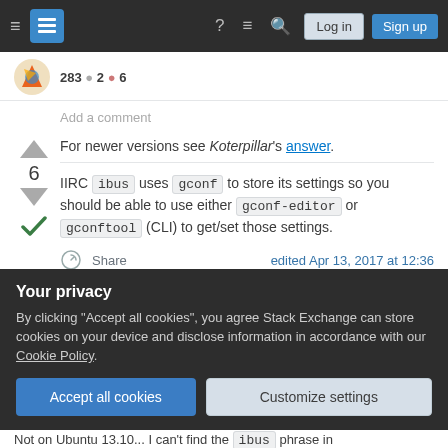Stack Exchange navigation bar with hamburger menu, logo, help, chat, search, Log in, Sign up
283 ● 2 ● 6
Add a comment
For newer versions see Koterpillar's answer.
IIRC ibus uses gconf to store its settings so you should be able to use either gconf-editor or gconftool (CLI) to get/set those settings.
Share   edited Apr 13, 2017 at 12:36
Your privacy
By clicking "Accept all cookies", you agree Stack Exchange can store cookies on your device and disclose information in accordance with our Cookie Policy.
Accept all cookies   Customize settings
Not on Ubuntu 13.10... I can't find the `ibus` phrase in